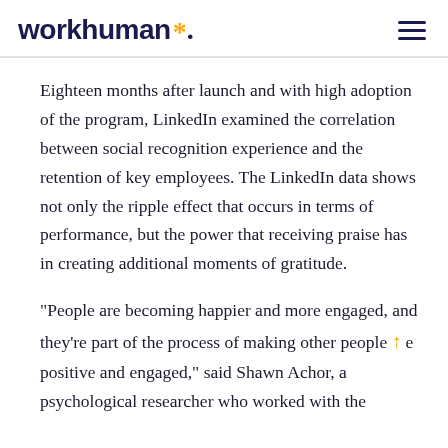workhuman*
Eighteen months after launch and with high adoption of the program, LinkedIn examined the correlation between social recognition experience and the retention of key employees. The LinkedIn data shows not only the ripple effect that occurs in terms of performance, but the power that receiving praise has in creating additional moments of gratitude.
"People are becoming happier and more engaged, and they're part of the process of making other people more positive and engaged," said Shawn Achor, a psychological researcher who worked with the